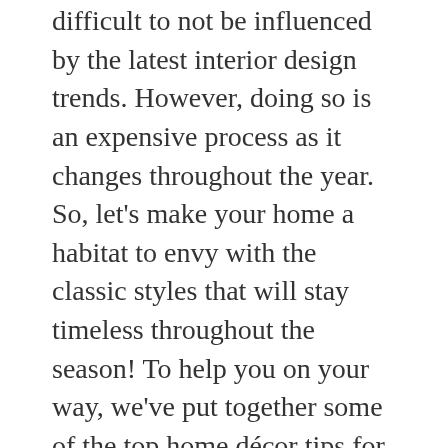difficult to not be influenced by the latest interior design trends. However, doing so is an expensive process as it changes throughout the year. So, let's make your home a habitat to envy with the classic styles that will stay timeless throughout the season! To help you on your way, we've put together some of the top home décor tips for inspiration!
The Colour
Choosing a colour can lead to endless debate of what looks good, especially if you are influenced by trends. Instead, opt for appealing colours for your home